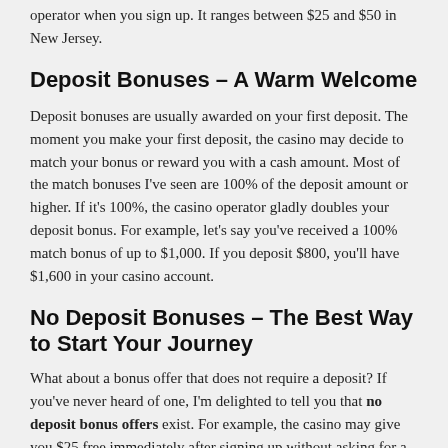operator when you sign up. It ranges between $25 and $50 in New Jersey.
Deposit Bonuses – A Warm Welcome
Deposit bonuses are usually awarded on your first deposit. The moment you make your first deposit, the casino may decide to match your bonus or reward you with a cash amount. Most of the match bonuses I've seen are 100% of the deposit amount or higher. If it's 100%, the casino operator gladly doubles your deposit bonus. For example, let's say you've received a 100% match bonus of up to $1,000. If you deposit $800, you'll have $1,600 in your casino account.
No Deposit Bonuses – The Best Way to Start Your Journey
What about a bonus offer that does not require a deposit? If you've never heard of one, I'm delighted to tell you that no deposit bonus offers exist. For example, the casino may give you $25 free immediately after signing up without asking for a deposit. In this case, you can use your no deposit bonus to play roulette games risk-free.